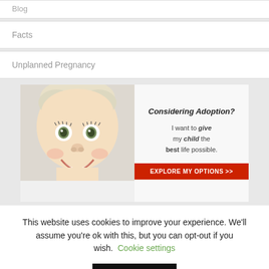Blog
Facts
Unplanned Pregnancy
[Figure (infographic): Advertisement banner showing a smiling baby photo on the left and adoption promotional text on the right with a red 'EXPLORE MY OPTIONS >>' button. Text reads: Considering Adoption? I want to give my child the best life possible.]
This website uses cookies to improve your experience. We'll assume you're ok with this, but you can opt-out if you wish. Cookie settings
ACCEPT